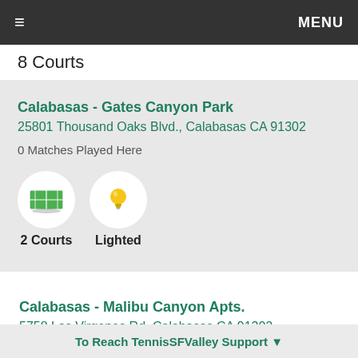≡ MENU
8 Courts
Calabasas - Gates Canyon Park
25801 Thousand Oaks Blvd., Calabasas CA 91302
0 Matches Played Here
[Figure (other): Tennis court icon and light bulb icon with labels: 2 Courts, Lighted]
Calabasas - Malibu Canyon Apts.
5758 Las Virgenes Rd, Calabasas CA 91302
0 Matches Played Here
To Reach TennisSFValley Support ▼